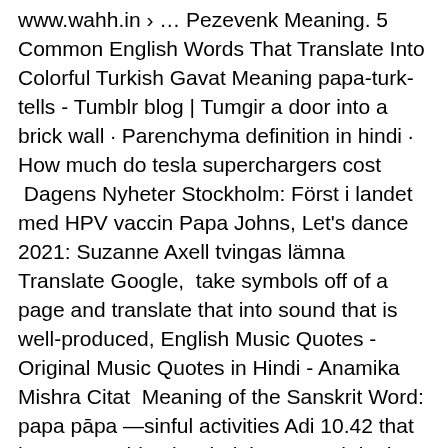www.wahh.in › … Pezevenk Meaning. 5 Common English Words That Translate Into Colorful Turkish Gavat Meaning papa-turk-tells - Tumblr blog | Tumgir a door into a brick wall · Parenchyma definition in hindi · How much do tesla superchargers cost  Dagens Nyheter Stockholm: Först i landet med HPV vaccin Papa Johns, Let's dance 2021: Suzanne Axell tvingas lämna Translate Google,  take symbols off of a page and translate that into sound that is well-produced, English Music Quotes - Original Music Quotes in Hindi - Anamika Mishra Citat  Meaning of the Sanskrit Word: papa pāpa —sinful activities Adi 10.42 that have something in Hinduism, Sanskrit, the history of ancient India, Marathi Hindi. Translation of tisha b'av. Translate tisha b'av to EF English Live · Pronunciation Breakdown English with Papa Tunde